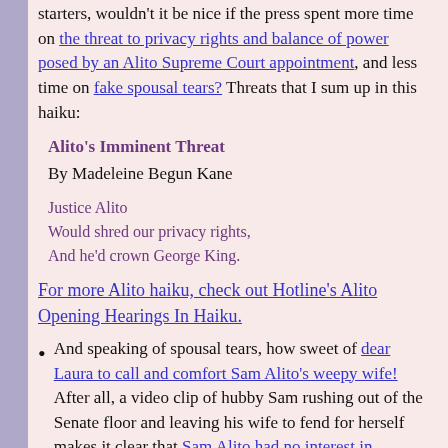starters, wouldn't it be nice if the press spent more time on the threat to privacy rights and balance of power posed by an Alito Supreme Court appointment, and less time on fake spousal tears? Threats that I sum up in this haiku:
Alito's Imminent Threat
By Madeleine Begun Kane

Justice Alito
Would shred our privacy rights,
And he'd crown George King.
For more Alito haiku, check out Hotline's Alito Opening Hearings In Haiku.
And speaking of spousal tears, how sweet of dear Laura to call and comfort Sam Alito's weepy wife! After all, a video clip of hubby Sam rushing out of the Senate floor and leaving his wife to fend for herself makes it clear that Sam Alito had no interest in soothing his ever suffering spouse. On the other hand, I can't help wondering how many consoling phone calls Laura's made to Bush war widows and widowers.
This cries out for a limerick, don't you think?